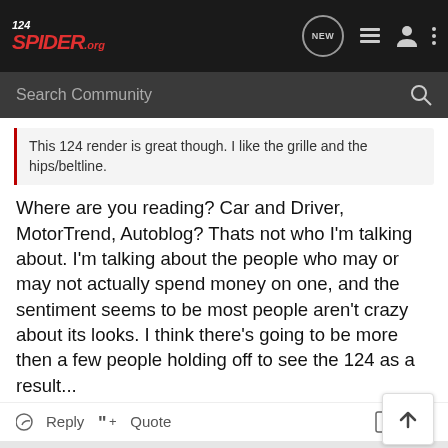124SPIDER.ORG — Search Community
This 124 render is great though. I like the grille and the hips/beltline.
Where are you reading? Car and Driver, MotorTrend, Autoblog? Thats not who I'm talking about. I'm talking about the people who may or may not actually spend money on one, and the sentiment seems to be most people aren't crazy about its looks. I think there's going to be more then a few people holding off to see the 124 as a result...
Reply  Quote
WMBL · Premium Member 🇺🇸